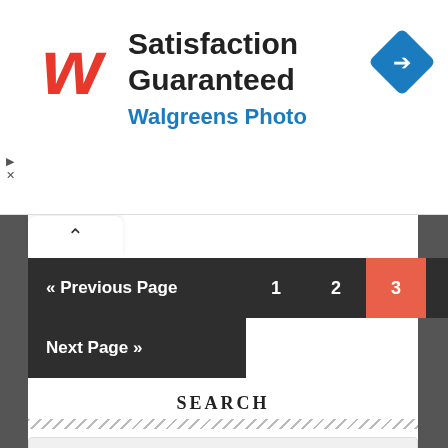[Figure (infographic): Walgreens Photo advertisement banner with Walgreens cursive W logo in red, text 'Satisfaction Guaranteed' and 'Walgreens Photo' in blue, and a blue diamond-shaped navigation icon on the right.]
« Previous Page
1
2
3
4
5
6
Next Page »
SEARCH
Search this website